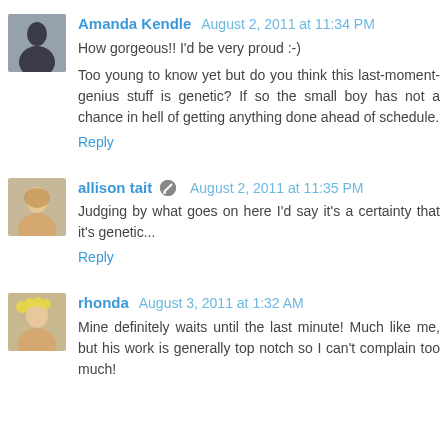Amanda Kendle  August 2, 2011 at 11:34 PM
How gorgeous!! I'd be very proud :-)
Too young to know yet but do you think this last-moment-genius stuff is genetic? If so the small boy has not a chance in hell of getting anything done ahead of schedule.
Reply
allison tait  August 2, 2011 at 11:35 PM
Judging by what goes on here I'd say it's a certainty that it's genetic...
Reply
rhonda  August 3, 2011 at 1:32 AM
Mine definitely waits until the last minute! Much like me, but his work is generally top notch so I can't complain too much!